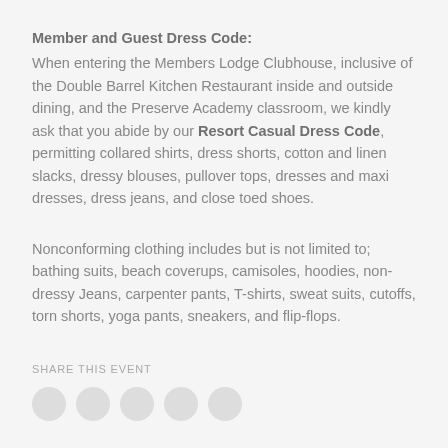Member and Guest Dress Code:
When entering the Members Lodge Clubhouse, inclusive of the Double Barrel Kitchen Restaurant inside and outside dining, and the Preserve Academy classroom, we kindly ask that you abide by our Resort Casual Dress Code, permitting collared shirts, dress shorts, cotton and linen slacks, dressy blouses, pullover tops, dresses and maxi dresses, dress jeans, and close toed shoes.
Nonconforming clothing includes but is not limited to; bathing suits, beach coverups, camisoles, hoodies, non-dressy Jeans, carpenter pants, T-shirts, sweat suits, cutoffs, torn shorts, yoga pants, sneakers, and flip-flops.
SHARE THIS EVENT